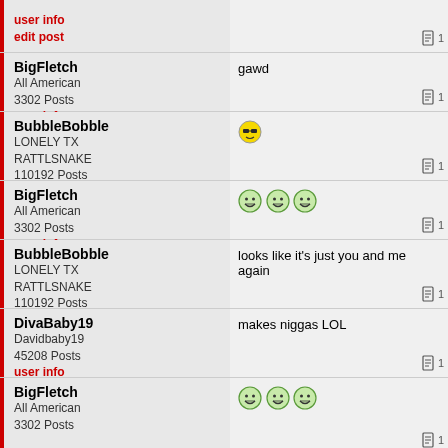user info | edit post
BigFletch | All American | 3302 Posts | user info | edit post | gawd
BubbleBobble | LONELY TX RATTLSNAKE | 110192 Posts | user info | edit post | [emoji]
BigFletch | All American | 3302 Posts | user info | edit post | [emoji emoji emoji]
BubbleBobble | LONELY TX RATTLSNAKE | 110192 Posts | user info | edit post | looks like it's just you and me again
DivaBaby19 | Davidbaby19 | 45208 Posts | user info | edit post | makes niggas LOL
BigFletch | All American | 3302 Posts | [emoji emoji emoji]